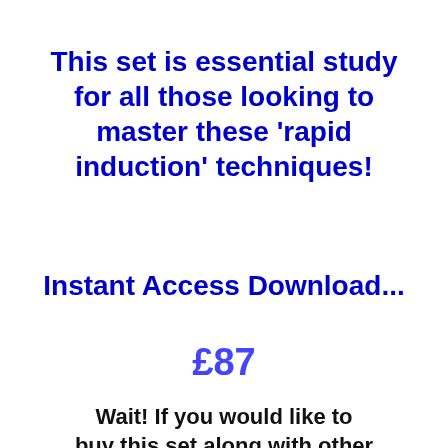This set is essential study for all those looking to master these 'rapid induction' techniques!
Instant Access Download...
£87
Wait! If you would like to buy this set along with other